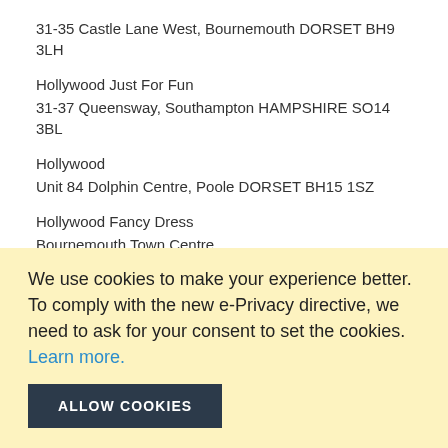31-35 Castle Lane West, Bournemouth DORSET BH9 3LH
Hollywood Just For Fun
31-37 Queensway, Southampton HAMPSHIRE SO14 3BL
Hollywood
Unit 84 Dolphin Centre, Poole DORSET BH15 1SZ
Hollywood Fancy Dress
Bournemouth Town Centre
INFORMATION
Login / Register
About Us
We use cookies to make your experience better. To comply with the new e-Privacy directive, we need to ask for your consent to set the cookies. Learn more.
ALLOW COOKIES